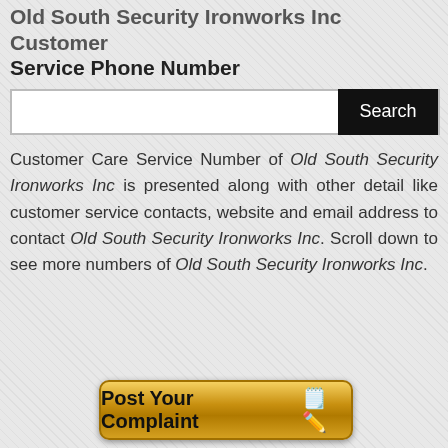Old South Security Ironworks Inc Customer Service Phone Number
[Figure (other): Search bar with text input field and black Search button]
Customer Care Service Number of Old South Security Ironworks Inc is presented along with other detail like customer service contacts, website and email address to contact Old South Security Ironworks Inc. Scroll down to see more numbers of Old South Security Ironworks Inc.
[Figure (other): Post Your Complaint button with notepad and pencil emoji icon, gold gradient background]